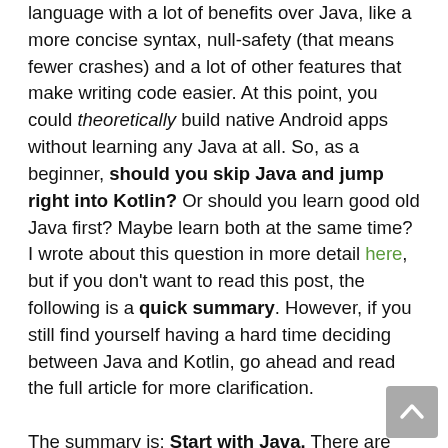language with a lot of benefits over Java, like a more concise syntax, null-safety (that means fewer crashes) and a lot of other features that make writing code easier. At this point, you could theoretically build native Android apps without learning any Java at all. So, as a beginner, should you skip Java and jump right into Kotlin? Or should you learn good old Java first? Maybe learn both at the same time? I wrote about this question in more detail here, but if you don't want to read this post, the following is a quick summary. However, if you still find yourself having a hard time deciding between Java and Kotlin, go ahead and read the full article for more clarification.

The summary is: Start with Java. There are much more learning resources for Java and it is
[Figure (other): Scroll-to-top button: grey rounded rectangle with upward chevron arrow]